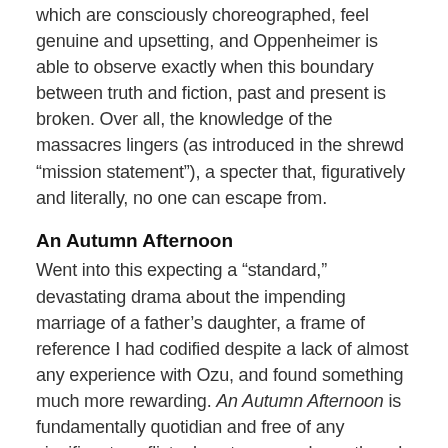which are consciously choreographed, feel genuine and upsetting, and Oppenheimer is able to observe exactly when this boundary between truth and fiction, past and present is broken. Over all, the knowledge of the massacres lingers (as introduced in the shrewd “mission statement”), a specter that, figuratively and literally, no one can escape from.
An Autumn Afternoon
Went into this expecting a “standard,” devastating drama about the impending marriage of a father’s daughter, a frame of reference I had codified despite a lack of almost any experience with Ozu, and found something much more rewarding. An Autumn Afternoon is fundamentally quotidian and free of any significant conflict, almost perversely so, though the final twenty minutes carry the exact amount of emotional devastation that they should. Narrative strands and characters are introduced, dropped, picked up, and dropped again with a glorious lightness; even Ryu’s immense performance is absent from a good chunk of the film. It